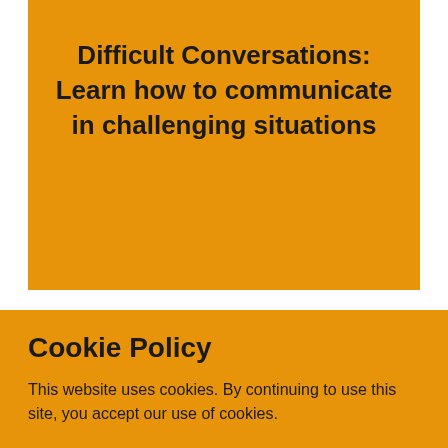Difficult Conversations: Learn how to communicate in challenging situations
Cookie Policy
This website uses cookies. By continuing to use this site, you accept our use of cookies.
ACCEPT & CLOSE